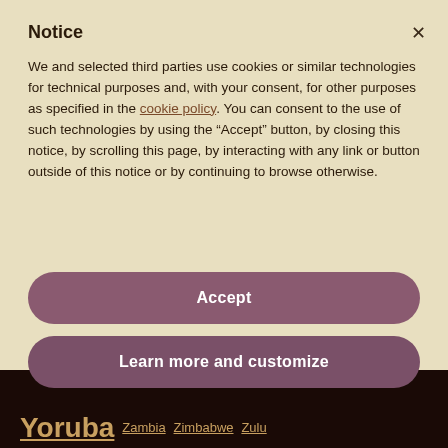Notice
We and selected third parties use cookies or similar technologies for technical purposes and, with your consent, for other purposes as specified in the cookie policy. You can consent to the use of such technologies by using the “Accept” button, by closing this notice, by scrolling this page, by interacting with any link or button outside of this notice or by continuing to browse otherwise.
Accept
Learn more and customize
Yoruba Zambia Zimbabwe Zulu